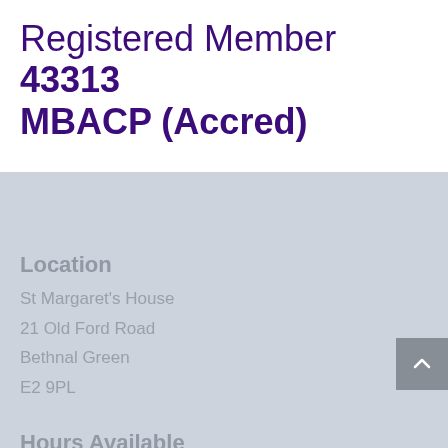Registered Member 43313 MBACP (Accred)
Location
St Margaret's House
21 Old Ford Road
Bethnal Green
E2 9PL
Hours Available
Tuesday to Friday
9am - 9pm